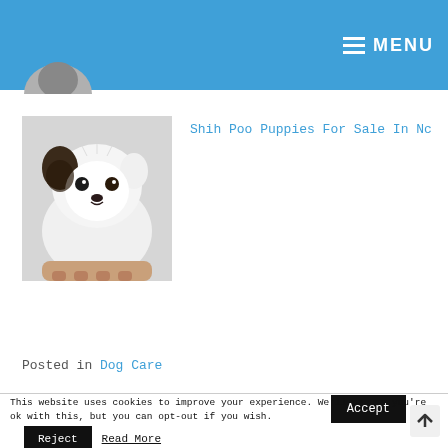MENU
[Figure (photo): Partial logo/dog image cropped at top of page]
[Figure (photo): White fluffy Shih Poo puppy being held in a hand, close-up photo]
Shih Poo Puppies For Sale In Nc
Posted in Dog Care
This website uses cookies to improve your experience. We'll assume you're ok with this, but you can opt-out if you wish.
Accept
Reject
Read More